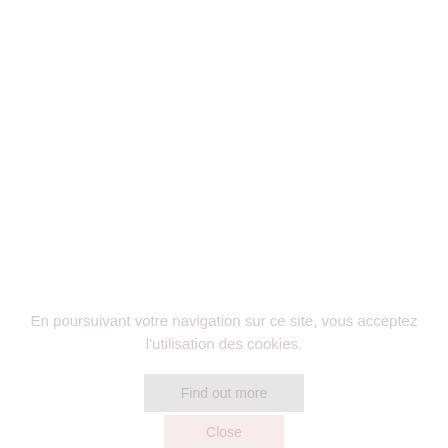En poursuivant votre navigation sur ce site, vous acceptez l'utilisation des cookies.
Find out more
Close